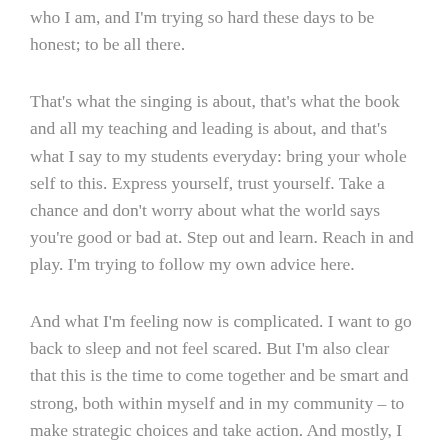who I am, and I'm trying so hard these days to be honest; to be all there.
That's what the singing is about, that's what the book and all my teaching and leading is about, and that's what I say to my students everyday: bring your whole self to this. Express yourself, trust yourself. Take a chance and don't worry about what the world says you're good or bad at. Step out and learn. Reach in and play. I'm trying to follow my own advice here.
And what I'm feeling now is complicated. I want to go back to sleep and not feel scared. But I'm also clear that this is the time to come together and be smart and strong, both within myself and in my community – to make strategic choices and take action. And mostly, I don't want to retreat into the feeling that I'm living among enemies. And that particular thing is what I've been thinking about most.